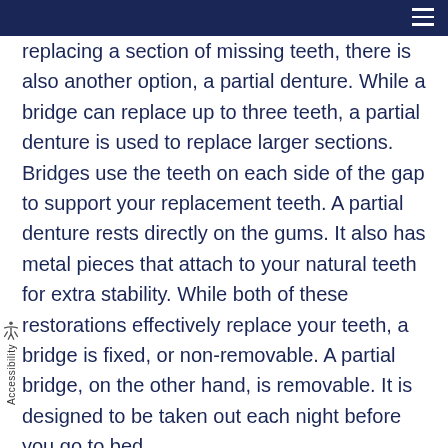replacing a section of missing teeth, there is also another option, a partial denture. While a bridge can replace up to three teeth, a partial denture is used to replace larger sections. Bridges use the teeth on each side of the gap to support your replacement teeth. A partial denture rests directly on the gums. It also has metal pieces that attach to your natural teeth for extra stability. While both of these restorations effectively replace your teeth, a bridge is fixed, or non-removable. A partial bridge, on the other hand, is removable. It is designed to be taken out each night before you go to bed.